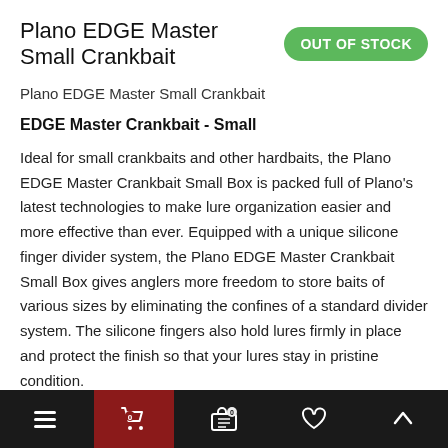Plano EDGE Master Small Crankbait
OUT OF STOCK
Plano EDGE Master Small Crankbait
EDGE Master Crankbait - Small
Ideal for small crankbaits and other hardbaits, the Plano EDGE Master Crankbait Small Box is packed full of Plano's latest technologies to make lure organization easier and more effective than ever. Equipped with a unique silicone finger divider system, the Plano EDGE Master Crankbait Small Box gives anglers more freedom to store baits of various sizes by eliminating the confines of a standard divider system. The silicone fingers also hold lures firmly in place and protect the finish so that your lures stay in pristine condition.
To further protect your lures, the Plano EDGE Master Crankbait Small Box features Rustrictor rust preventative technology molded into the base and a Dri-Loc watertight seal to keep rust from forming and prevent water from seeping in. It also features a crystal clear lid design for quick identification of contents and easy access to baits that all…
☰  🛒 0  🛒  ♡  ∧